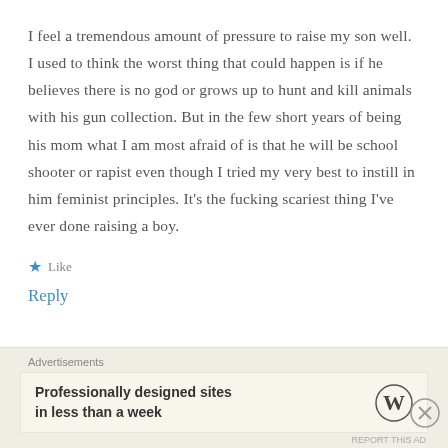I feel a tremendous amount of pressure to raise my son well. I used to think the worst thing that could happen is if he believes there is no god or grows up to hunt and kill animals with his gun collection. But in the few short years of being his mom what I am most afraid of is that he will be school shooter or rapist even though I tried my very best to instill in him feminist principles. It's the fucking scariest thing I've ever done raising a boy.
★ Like
Reply
Advertisements
Professionally designed sites in less than a week